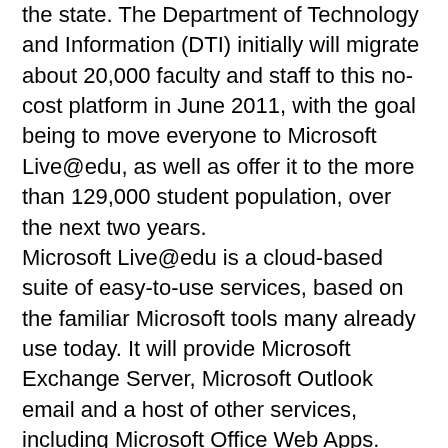the state. The Department of Technology and Information (DTI) initially will migrate about 20,000 faculty and staff to this no-cost platform in June 2011, with the goal being to move everyone to Microsoft Live@edu, as well as offer it to the more than 129,000 student population, over the next two years. Microsoft Live@edu is a cloud-based suite of easy-to-use services, based on the familiar Microsoft tools many already use today. It will provide Microsoft Exchange Server, Microsoft Outlook email and a host of other services, including Microsoft Office Web Apps. This means educators and staff will be able to access their information in the cloud virtually anytime and anywhere through popular Web browsers and from any Internet-connected PC or mobile phone. Microsoft Live@edu will allow Delaware schools to help reduce operating costs by migrating away from their current on-premise email systems. The Microsoft cloud services also will foster improved productivity, better learning and skills development to help students prepare for their futures.